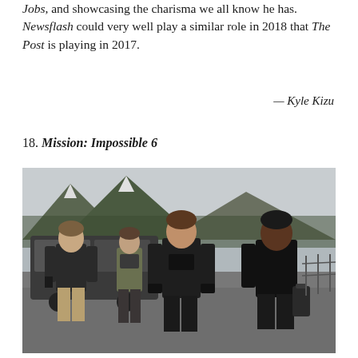Jobs, and showcasing the charisma we all know he has. Newsflash could very well play a similar role in 2018 that The Post is playing in 2017.
— Kyle Kizu
18. Mission: Impossible 6
[Figure (photo): Four people standing outdoors on a gravel area with mountains, trees, and a dark SUV in the background. From left: a shorter man in a dark jacket and khaki pants, a woman in an olive jacket, a tall man in a dark jacket at center, and a large man in black on the right carrying a bag.]